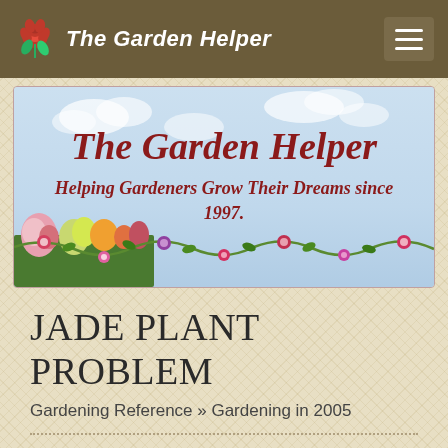The Garden Helper
[Figure (illustration): Banner image for The Garden Helper website showing title text 'The Garden Helper' and subtitle 'Helping Gardeners Grow Their Dreams since 1997.' on a sky-blue background with flower garden at bottom left and floral vine border at bottom]
JADE PLANT PROBLEM
Gardening Reference » Gardening in 2005